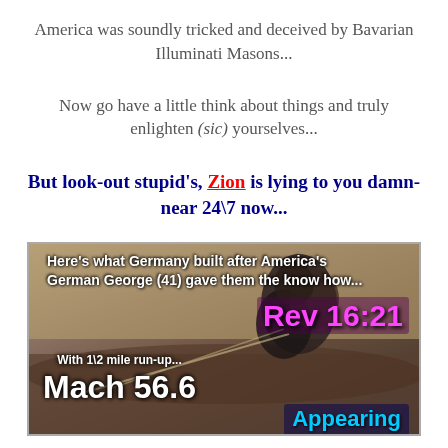America was soundly tricked and deceived by Bavarian Illuminati Masons...
Now go have a little think about things and truly enlighten (sic) yourselves...
But look-out stupid's, Zion is lying to you damn-near 24\7 now...
[Figure (photo): Image with text overlays: 'Here's what Germany built after America's German George (41) gave them the know how...' at top. Bottom left: 'With 1\2 mile run-up...' and 'Mach 56.6'. Right side: 'Rev 16:21' in magenta. Bottom right: 'Appearing' in cyan. Background appears to be a desert/explosion scene.]